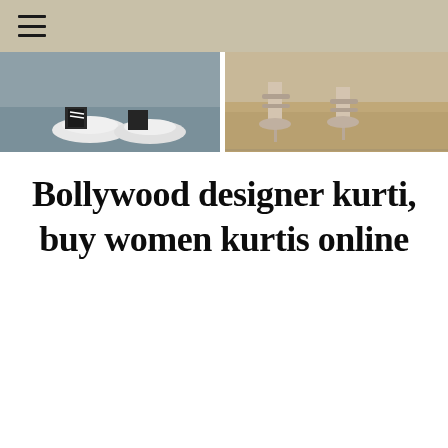☰
[Figure (photo): Two side-by-side photos showing women's feet in shoes. Left photo shows feet in black and white sneakers on a grey surface. Right photo shows feet in grey high-heel sandals on a sandy/stone surface. The background at top is a beige/tan color (navigation bar).]
Bollywood designer kurti, buy women kurtis online